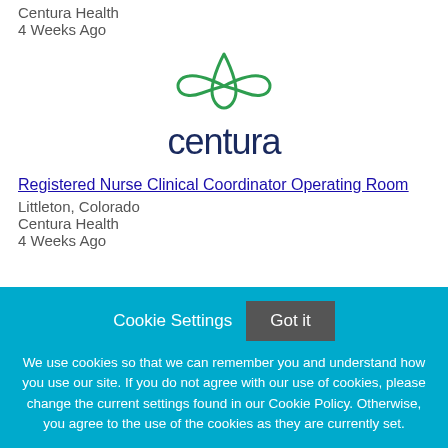Centura Health
4 Weeks Ago
[Figure (logo): Centura Health logo with green leaf/petal design above the word 'centura' in dark navy text]
Registered Nurse Clinical Coordinator Operating Room
Littleton, Colorado
Centura Health
4 Weeks Ago
Cookie Settings
Got it
We use cookies so that we can remember you and understand how you use our site. If you do not agree with our use of cookies, please change the current settings found in our Cookie Policy. Otherwise, you agree to the use of the cookies as they are currently set.